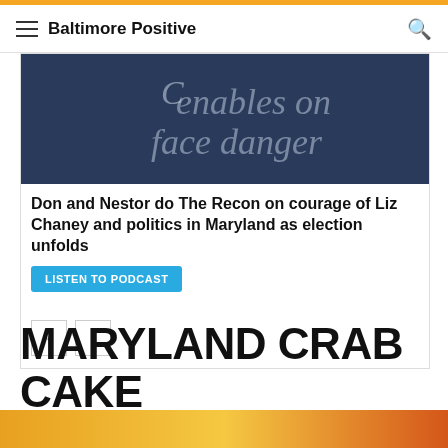Baltimore Positive
[Figure (photo): Close-up of text reading 'enables one face danger' on a dark blue background]
Don and Nestor do The Recon on courage of Liz Chaney and politics in Maryland as election unfolds
LISTEN TO PODCAST
MARYLAND CRAB CAKE TOUR
[Figure (photo): Bottom image strip showing a warm-toned food photo]